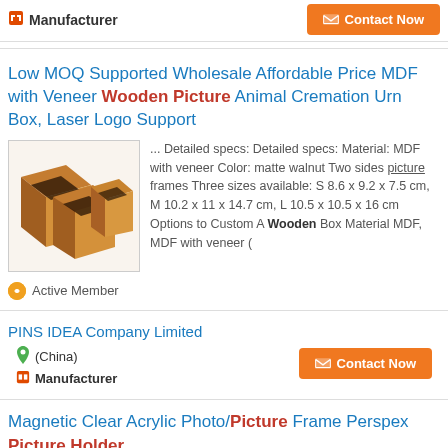Manufacturer
Contact Now
Low MOQ Supported Wholesale Affordable Price MDF with Veneer Wooden Picture Animal Cremation Urn Box, Laser Logo Support
[Figure (photo): Three wooden box urns in brown/orange veneer finish, cube-shaped with open fronts, shown at an angle]
... Detailed specs: Detailed specs: Material: MDF with veneer Color: matte walnut Two sides picture frames Three sizes available: S 8.6 x 9.2 x 7.5 cm, M 10.2 x 11 x 14.7 cm, L 10.5 x 10.5 x 16 cm Options to Custom A Wooden Box Material MDF, MDF with veneer (
Active Member
PINS IDEA Company Limited
(China)
Manufacturer
Contact Now
Magnetic Clear Acrylic Photo/Picture Frame Perspex Picture Holder